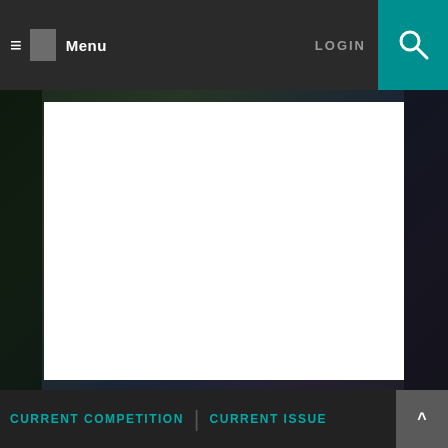≡ Menu   LOGIN 🔍
[Figure (screenshot): Website screenshot showing a navigation bar with menu and login, a large white rectangle placeholder over a dark artistic background image]
©2022
New American Paintings
CURRENT COMPETITION | CURRENT ISSUE ^